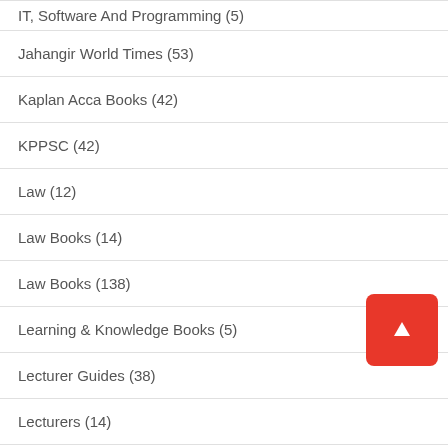IT, Software And Programming (5)
Jahangir World Times (53)
Kaplan Acca Books (42)
KPPSC (42)
Law (12)
Law Books (14)
Law Books (138)
Learning & Knowledge Books (5)
Lecturer Guides (38)
Lecturers (14)